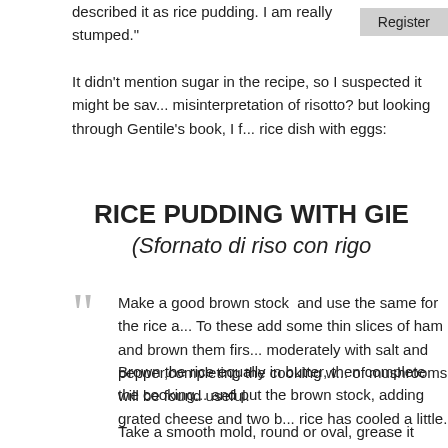described it as rice pudding. I am really stumped."
It didn’t mention sugar in the recipe, so I suspected it might be sav... misinterpretation of risotto? but looking through Gentile’s book, I f... rice dish with eggs:
RICE PUDDING WITH GIE
(Sfornato di riso con rigo
Make a good brown stock  and use the same for the rice a... To these add some thin slices of ham and brown them firs... moderately with salt and pepper,completing the cooking w... of mushrooms will be found useful.
Brown the rice equally in butter, then complete the cooking... and put the brown stock, adding grated cheese and two b... rice has cooled a little.
Take a smooth mold, round or oval, grease it evenly with b... with buttered paper and place in it the rice to harden it in...